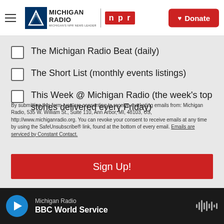Michigan Radio | NPR | Donate
The Michigan Radio Beat (daily)
The Short List (monthly events listings)
This Week @ Michigan Radio (the week's top stories delivered every Friday)
By submitting this form, you are consenting to receive marketing emails from: Michigan Radio, 535 W. William St., Suite 110, Ann Arbor, MI, 48103, US, http://www.michiganradio.org. You can revoke your consent to receive emails at any time by using the SafeUnsubscribe® link, found at the bottom of every email. Emails are serviced by Constant Contact.
Sign Up!
Michigan Radio | BBC World Service